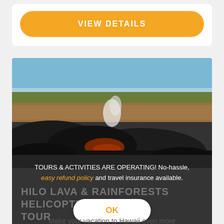VIEW DETAILS
[Figure (photo): Aerial view of a Hawaiian lava field with dark volcanic rock formations, steam rising, and sparse brown vegetation under a blue sky.]
TOURS & ACTIVITIES ARE OPERATING! No-hassle, easy refund policy and travel insurance available.
HILO LAVA & RAINFORESTS HELICOPTER TOUR
This site uses cookies, please click ok to accept use. Please review our privacy policy here.
OK
Make your vacation to Hawaii even more